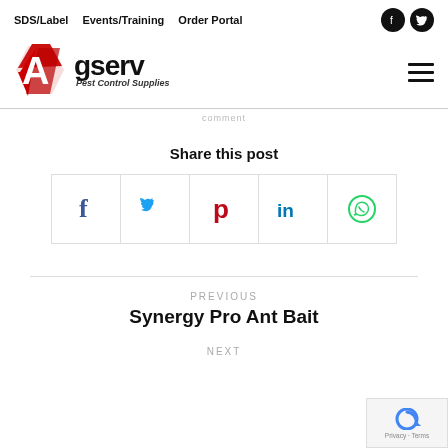SDS/Label  Events/Training  Order Portal
[Figure (logo): Agserv Pest Control Supplies logo with red geometric A icon and bold black text]
Share this post
[Figure (infographic): Social share buttons: Facebook (blue f), Twitter (blue bird), Pinterest (red P), LinkedIn (blue in), WhatsApp (green phone icon)]
PREVIOUS
Synergy Pro Ant Bait
NEXT